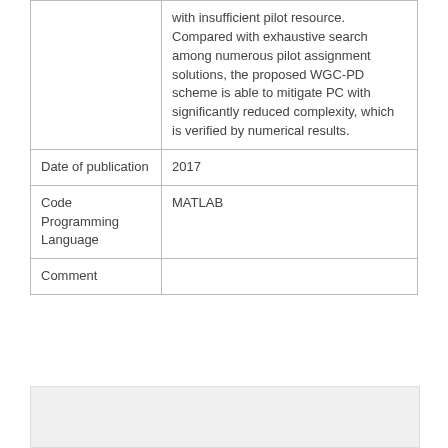|  | with insufficient pilot resource. Compared with exhaustive search among numerous pilot assignment solutions, the proposed WGC-PD scheme is able to mitigate PC with significantly reduced complexity, which is verified by numerical results. |
| Date of publication | 2017 |
| Code Programming Language | MATLAB |
| Comment |  |